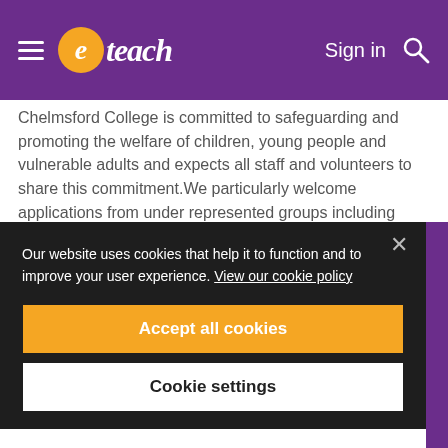[Figure (logo): eteach logo with orange circle containing italic 'e' and white text 'teach' on purple header bar, with hamburger menu, Sign in text and search icon]
Chelmsford College is committed to safeguarding and promoting the welfare of children, young people and vulnerable adults and expects all staff and volunteers to share this commitment.We particularly welcome applications from under represented groups including ethnicity, gender, transgender, age, disability, sexual orientation or religion.
Our website uses cookies that help it to function and to improve your user experience. View our cookie policy
Accept all cookies
Cookie settings